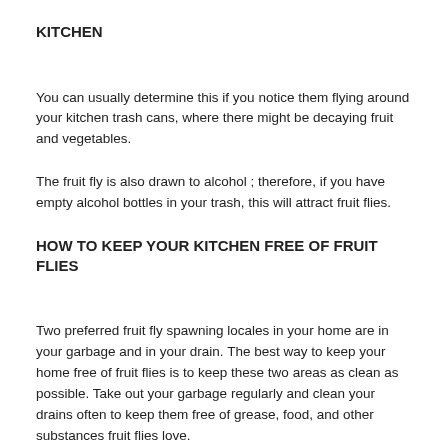KITCHEN
You can usually determine this if you notice them flying around your kitchen trash cans, where there might be decaying fruit and vegetables.
The fruit fly is also drawn to alcohol ; therefore, if you have empty alcohol bottles in your trash, this will attract fruit flies.
HOW TO KEEP YOUR KITCHEN FREE OF FRUIT FLIES
Two preferred fruit fly spawning locales in your home are in your garbage and in your drain. The best way to keep your home free of fruit flies is to keep these two areas as clean as possible. Take out your garbage regularly and clean your drains often to keep them free of grease, food, and other substances fruit flies love.